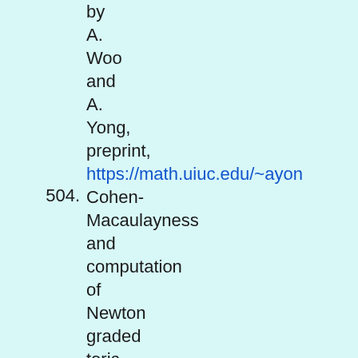by A. Woo and A. Yong, preprint, https://math.uiuc.edu/~ayong
504. Cohen-Macaulayness and computation of Newton graded toric rings, by M. Schulze and U. Walther, J. Pure Appl.